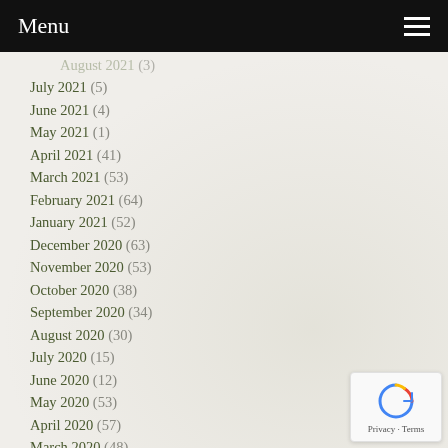Menu
August 2021 (3)
July 2021 (5)
June 2021 (4)
May 2021 (1)
April 2021 (41)
March 2021 (53)
February 2021 (64)
January 2021 (52)
December 2020 (63)
November 2020 (53)
October 2020 (38)
September 2020 (34)
August 2020 (30)
July 2020 (15)
June 2020 (12)
May 2020 (53)
April 2020 (57)
March 2020 (48)
February 2020 (47)